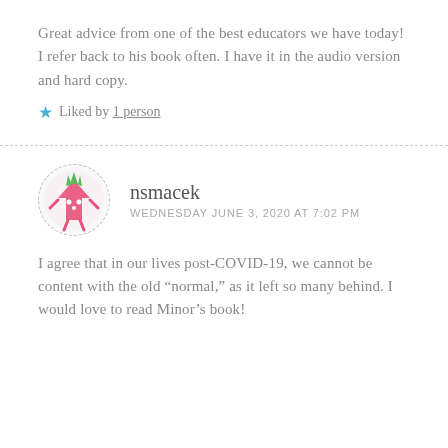Great advice from one of the best educators we have today!
I refer back to his book often. I have it in the audio version and hard copy.
★ Liked by 1 person
nsmacek
WEDNESDAY JUNE 3, 2020 AT 7:02 PM
I agree that in our lives post-COVID-19, we cannot be content with the old “normal,” as it left so many behind. I would love to read Minor’s book!